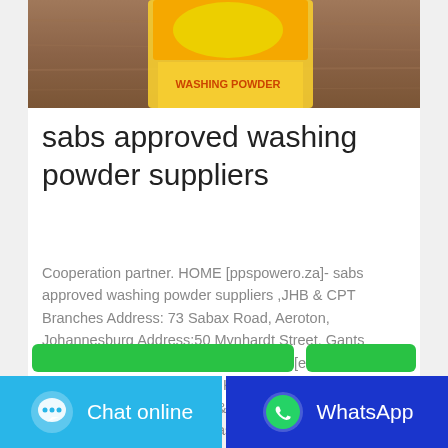[Figure (photo): Product image showing a yellow/orange washing powder packet on a wooden surface, partially cropped at top]
sabs approved washing powder suppliers
Cooperation partner. HOME [ppspowero.za]- sabs approved washing powder suppliers ,JHB & CPT Branches Address: 73 Sabax Road, Aeroton, Johannesburg Address:50 Mynhardt Street, Gants Plaza, Strand, Cape Town 7130 Email: [email protected] Web: www.ppspowero.za …Kiarah Chem | Manufacturers of industrial & hygienic ...industrial laundry detergent vavdrg washing powder new …
[Figure (screenshot): Two chat buttons at bottom: green strip buttons above, then a cyan 'Chat online' button on the left and a dark blue 'WhatsApp' button on the right with icons]